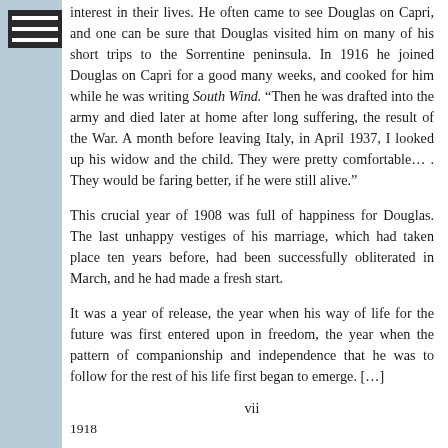interest in their lives. He often came to see Douglas on Capri, and one can be sure that Douglas visited him on many of his short trips to the Sorrentine peninsula. In 1916 he joined Douglas on Capri for a good many weeks, and cooked for him while he was writing South Wind. “Then he was drafted into the army and died later at home after long suffering, the result of the War. A month before leaving Italy, in April 1937, I looked up his widow and the child. They were pretty comfortable… . They would be faring better, if he were still alive.”
This crucial year of 1908 was full of happiness for Douglas. The last unhappy vestiges of his marriage, which had taken place ten years before, had been successfully obliterated in March, and he had made a fresh start.
It was a year of release, the year when his way of life for the future was first entered upon in freedom, the year when the pattern of companionship and independence that he was to follow for the rest of his life first began to emerge. […]
vii
1918